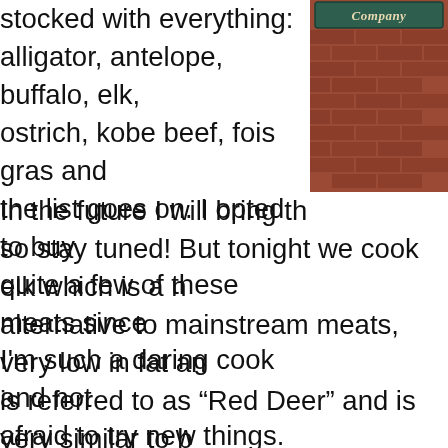stocked with everything: alligator, antelope, buffalo, elk, ostrich, kobe beef, fois gras and the list goes on. I opted to buy quite a few of these meats since I'm such a daring cook and not afraid to try new things. In the future I will bring th... so stay tuned! But tonight we cook elk which is a n... alternative to mainstream meats, very low in fat an... is referred to as “Red Deer” and is very similar to b... yet to be generally accepted in steak houses and ... Supermarkets are also reluctant to stock up on elk... served as a rare exotic dish and is mostly popular ... lovers. The elk from Fossil Farms is all natural and n... growth hormones, steroids or antibiotics. The taste... and the flavor was pretty close to venison but slig... — although my raspberry wine sauce quickly tame...
[Figure (photo): Photo of a brick building exterior with a teal/green sign reading 'Company' in italic script]